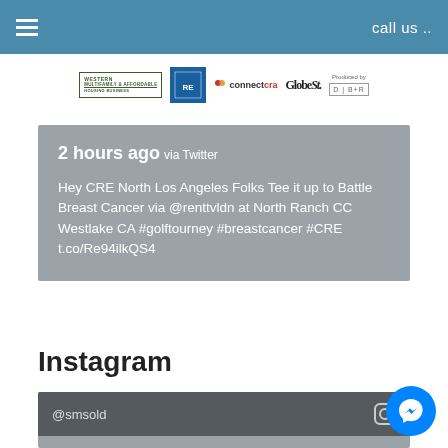call us ..
[Figure (logo): Navigation bar with hamburger menu and call us text, followed by logos: Western Multifamily & Affordable Housing Business, a blue box logo, connectcre, GlobeSt., Produced by D|B+R]
2 hours ago via Twitter
Hey CRE North Los Angeles Folks Tee it up to Battle Breast Cancer via @renttvldn at North Ranch CC Westlake CA #golftourney #breastcancer #CRE t.co/Re94ilkQS4
Instagram
@smsold
via Instagram